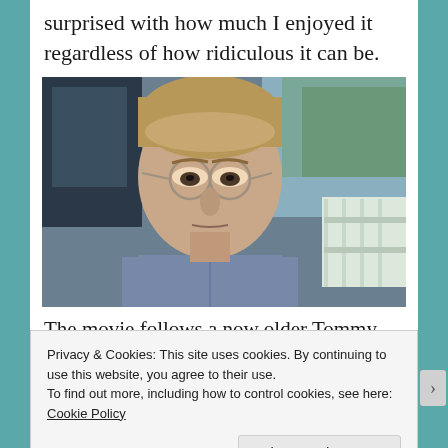surprised with how much I enjoyed it regardless of how ridiculous it can be.
[Figure (photo): A young man with round wire-rimmed glasses sitting in a vehicle, wearing a blue/grey denim shirt, looking serious. Trees and a white fence visible in background. Appears to be a movie still.]
The movie follows a now older Tommy Jarvis who is
Privacy & Cookies: This site uses cookies. By continuing to use this website, you agree to their use.
To find out more, including how to control cookies, see here: Cookie Policy
Close and accept